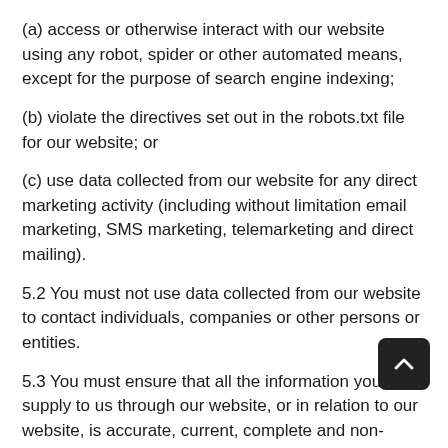(a) access or otherwise interact with our website using any robot, spider or other automated means, except for the purpose of search engine indexing;
(b) violate the directives set out in the robots.txt file for our website; or
(c) use data collected from our website for any direct marketing activity (including without limitation email marketing, SMS marketing, telemarketing and direct mailing).
5.2 You must not use data collected from our website to contact individuals, companies or other persons or entities.
5.3 You must ensure that all the information you supply to us through our website, or in relation to our website, is accurate, current, complete and non-misleading.
6.0 Registration and accounts
6.1 To be eligible for an account on our website under this